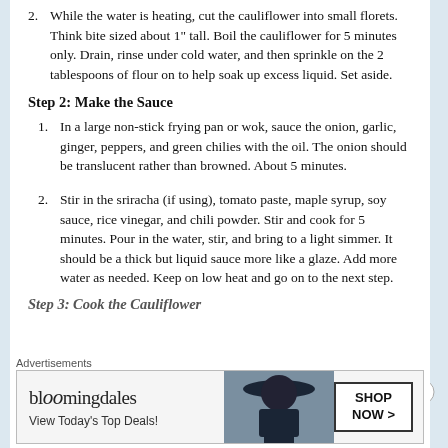2. While the water is heating, cut the cauliflower into small florets. Think bite sized about 1" tall. Boil the cauliflower for 5 minutes only. Drain, rinse under cold water, and then sprinkle on the 2 tablespoons of flour on to help soak up excess liquid. Set aside.
Step 2: Make the Sauce
1. In a large non-stick frying pan or wok, sauce the onion, garlic, ginger, peppers, and green chilies with the oil. The onion should be translucent rather than browned. About 5 minutes.
2. Stir in the sriracha (if using), tomato paste, maple syrup, soy sauce, rice vinegar, and chili powder. Stir and cook for 5 minutes. Pour in the water, stir, and bring to a light simmer. It should be a thick but liquid sauce more like a glaze. Add more water as needed. Keep on low heat and go on to the next step.
Step 3: Cook the Cauliflower
Advertisements
[Figure (illustration): Bloomingdale's advertisement banner with woman in wide-brim hat and SHOP NOW button]